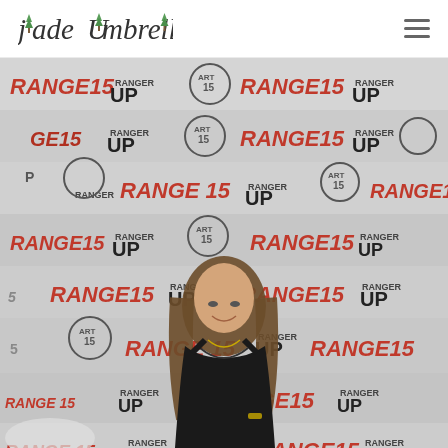Jade Umbrella
[Figure (photo): A young woman in a black dress standing in front of a step-and-repeat banner showing 'RANGE 15', 'RANGER UP', and 'ART 15' logos repeated in a grid pattern. The banner is white/gray with red and dark text logos.]